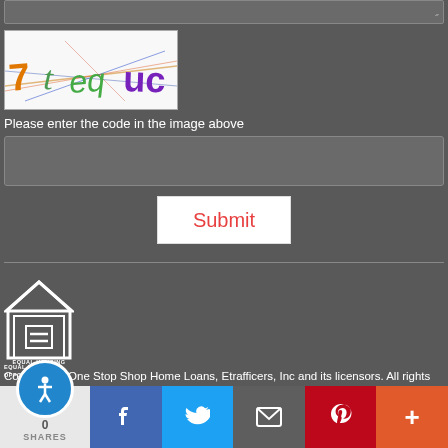[Figure (screenshot): CAPTCHA image showing distorted text '7t eq uc' with colorful characters on white background with diagonal lines]
Please enter the code in the image above
[Figure (screenshot): Text input field for CAPTCHA code entry]
[Figure (screenshot): Submit button with red text on white background]
[Figure (logo): Equal Housing Opportunity logo - house with equal sign]
Copyright © One Stop Shop Home Loans, Etrafficers, Inc and its licensors. All rights reserved.
Mortgage Websites designed and powered by Etrafficers, Inc.
[Figure (screenshot): Social sharing bar with accessibility icon, Facebook, Twitter, Email, Pinterest, and More buttons]